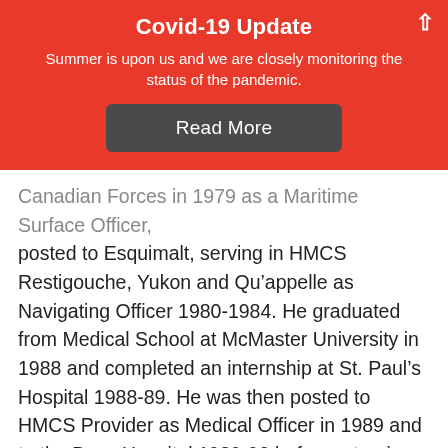Covid-19 Update
Summer is upon us and we are closely monitoring the status of the pandemic.
Read More
Canadian Forces in 1979 as a Maritime Surface Officer, posted to Esquimalt, serving in HMCS Restigouche, Yukon and Qu’appelle as Navigating Officer 1980-1984. He graduated from Medical School at McMaster University in 1988 and completed an internship at St. Paul’s Hospital 1988-89. He was then posted to HMCS Provider as Medical Officer in 1989 and to the Base Hospital 1989-90 before returning to Vancouver for his General Surgery Residency at UBC. He has completed two tours in Bosnia and three in Afghanistan (Kabul and Kandahar). He was posted to Halifax as a general surgeon at Stadacona Hospital 1990-91 and then back to Vancouver General Hospital. In Vancouver, he established the CFTTC(W),